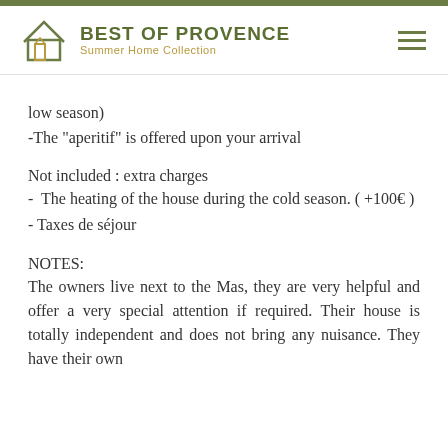BEST OF PROVENCE Summer Home Collection
low season)
-The "aperitif" is offered upon your arrival
Not included : extra charges
- The heating of the house during the cold season. ( +100€ )
- Taxes de séjour
NOTES:
The owners live next to the Mas, they are very helpful and offer a very special attention if required. Their house is totally independent and does not bring any nuisance. They have their own